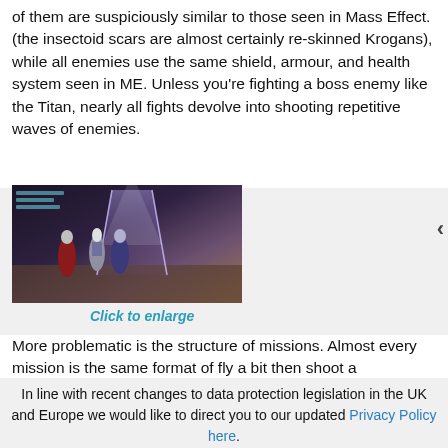of them are suspiciously similar to those seen in Mass Effect. (the insectoid scars are almost certainly re-skinned Krogans), while all enemies use the same shield, armour, and health system seen in ME. Unless you're fighting a boss enemy like the Titan, nearly all fights devolve into shooting repetitive waves of enemies.
[Figure (screenshot): Game screenshot showing armored characters in combat in a sci-fi setting]
Click to enlarge
More problematic is the structure of missions. Almost every mission is the same format of fly a bit then shoot a
In line with recent changes to data protection legislation in the UK and Europe we would like to direct you to our updated Privacy Policy here.
Dismiss